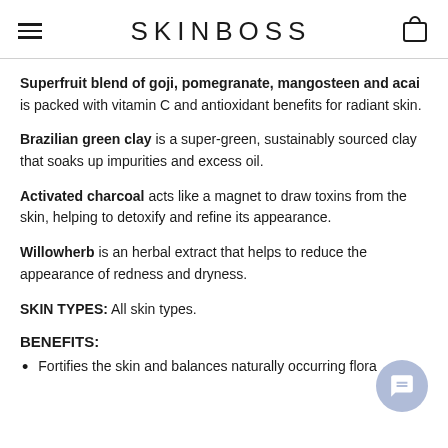SKINBOSS
Superfruit blend of goji, pomegranate, mangosteen and acai is packed with vitamin C and antioxidant benefits for radiant skin.
Brazilian green clay is a super-green, sustainably sourced clay that soaks up impurities and excess oil.
Activated charcoal acts like a magnet to draw toxins from the skin, helping to detoxify and refine its appearance.
Willowherb is an herbal extract that helps to reduce the appearance of redness and dryness.
SKIN TYPES: All skin types.
BENEFITS:
Fortifies the skin and balances naturally occurring flora